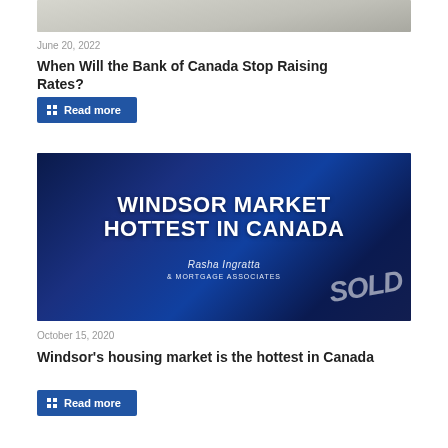[Figure (photo): Partial view of a room interior showing ceiling corner]
June 20, 2022
When Will the Bank of Canada Stop Raising Rates?
Read more
[Figure (photo): Windsor Market Hottest in Canada - promotional image with blue background and bold white text, Rasha Ingratta Mortgage Associates branding, SOLD sign visible]
October 15, 2020
Windsor's housing market is the hottest in Canada
Read more